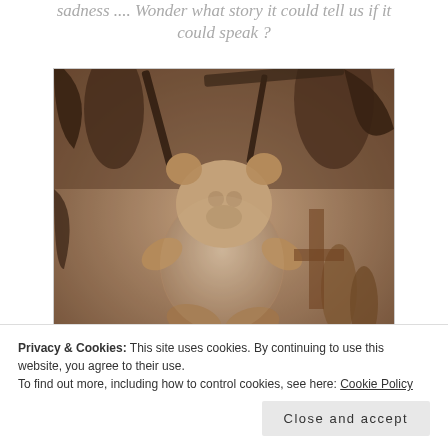sadness .... Wonder what story it could tell us if it could speak ?
[Figure (photo): Sepia-toned photograph of a worn, dirty teddy bear lying among debris and wreckage, including metal parts, broken furniture and bottles, in an outdoor setting.]
Privacy & Cookies: This site uses cookies. By continuing to use this website, you agree to their use.
To find out more, including how to control cookies, see here: Cookie Policy
Close and accept